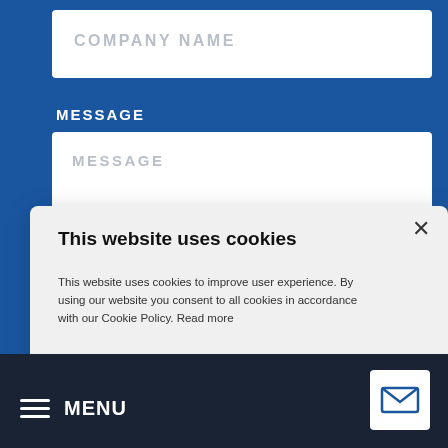[Figure (screenshot): Blue background web form page with a Company Name input field and a Message label and textarea]
COMPANY NAME
MESSAGE
MESSAGE
ll always be
[Figure (screenshot): Cookie consent popup dialog with title 'This website uses cookies', body text, Accept All (green) and Decline All (outlined) buttons, and a close X button]
This website uses cookies
This website uses cookies to improve user experience. By using our website you consent to all cookies in accordance with our Cookie Policy. Read more
ACCEPT ALL
DECLINE ALL
MENU